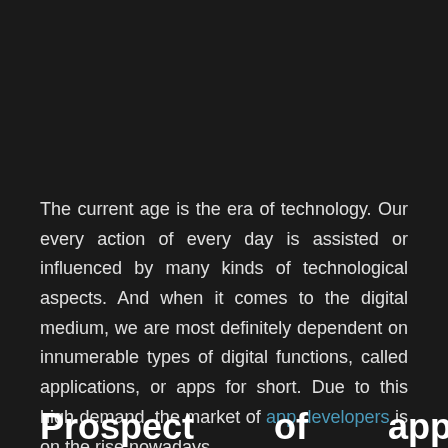The current age is the era of technology. Our every action of every day is assisted or influenced by many kinds of technological aspects. And when it comes to the digital medium, we are most definitely dependent on innumerable types of digital functions, called applications, or apps for short. Due to this high demand, the market of app developers is on the rise nowadays.
Prospect   of   app